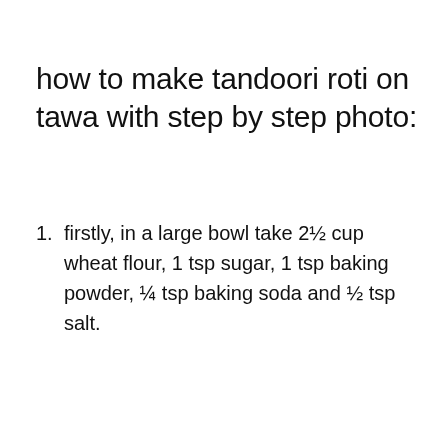how to make tandoori roti on tawa with step by step photo:
firstly, in a large bowl take 2½ cup wheat flour, 1 tsp sugar, 1 tsp baking powder, ¼ tsp baking soda and ½ tsp salt.